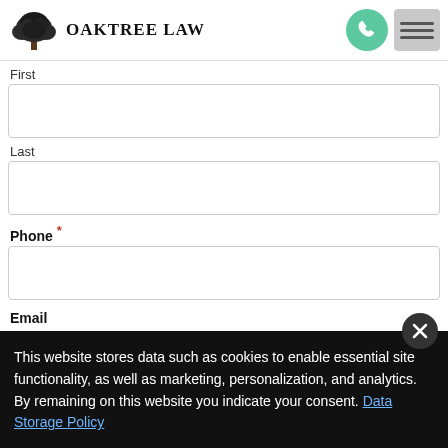OakTree Law
First
Last
Phone *
Email
This website stores data such as cookies to enable essential site functionality, as well as marketing, personalization, and analytics. By remaining on this website you indicate your consent. Data Storage Policy